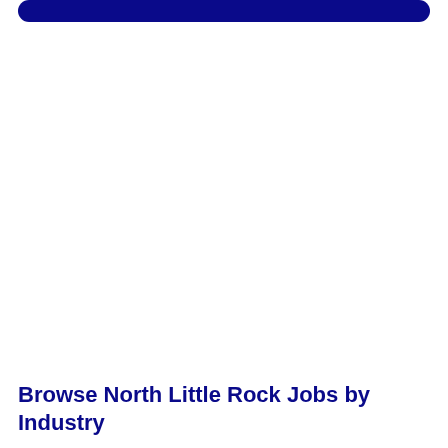[Figure (other): Dark navy blue rounded rectangle banner/button at the top of the page]
Browse North Little Rock Jobs by Industry